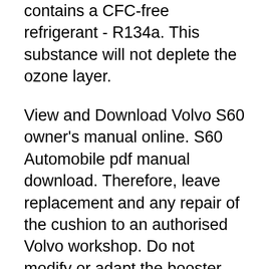contains a CFC-free refrigerant - R134a. This substance will not deplete the ozone layer.
View and Download Volvo S60 owner's manual online. S60 Automobile pdf manual download. Therefore, leave replacement and any repair of the cushion to an authorised Volvo workshop. Do not modify or adapt the booster cushion yourself in any way. Page 30: Fitting A Child Seat The booster cushion must also be replaced if it is heavily worn. 2002 Volvo S60 Owners Manual вЂ" 2002 Volvo S60 Owners Manual is one thing that lots of folks ignore. Once they purchase a whole new Volvo automobile, many of